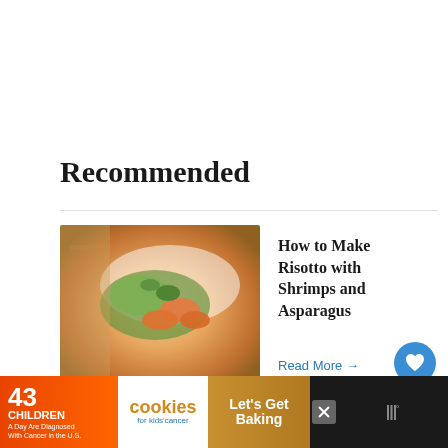Recommended
[Figure (photo): Food photo of risotto with shrimps and asparagus, green vegetables and orange shrimps visible]
How to Make Risotto with Shrimps and Asparagus
Read More →
[Figure (photo): Food photo of Italian potato croquettes, round brown breaded balls with white dipping sauce]
How to Make Italian Potato Croquettes
[Figure (photo): What's Next thumbnail showing pasta/homemade dish]
WHAT'S NEXT → How to Make Homemade...
[Figure (infographic): Advertisement banner: 43 Children A Day Are Diagnosed With Cancer in the U.S. — cookies for kids cancer — Let's Get Baking]